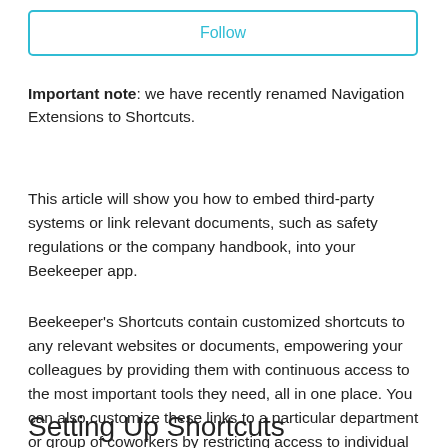[Figure (other): Follow button — a rectangular button with cyan border and cyan 'Follow' text link]
Important note: we have recently renamed Navigation Extensions to Shortcuts.
This article will show you how to embed third-party systems or link relevant documents, such as safety regulations or the company handbook, into your Beekeeper app.
Beekeeper's Shortcuts contain customized shortcuts to any relevant websites or documents, empowering your colleagues by providing them with continuous access to the most important tools they need, all in one place. You can also customize these links to a particular department or group of coworkers by restricting access to individual sections of the Shortcuts.
Setting Up Shortcuts